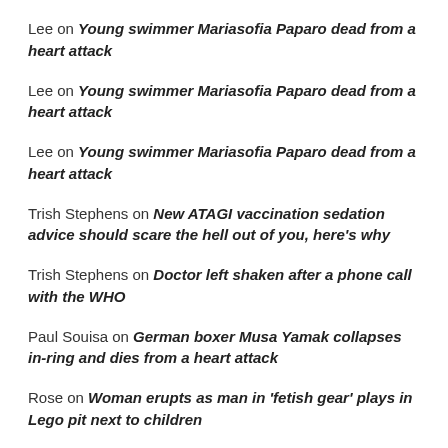Lee on Young swimmer Mariasofia Paparo dead from a heart attack
Lee on Young swimmer Mariasofia Paparo dead from a heart attack
Lee on Young swimmer Mariasofia Paparo dead from a heart attack
Trish Stephens on New ATAGI vaccination sedation advice should scare the hell out of you, here's why
Trish Stephens on Doctor left shaken after a phone call with the WHO
Paul Souisa on German boxer Musa Yamak collapses in-ring and dies from a heart attack
Rose on Woman erupts as man in 'fetish gear' plays in Lego pit next to children
Rose on Undisclosed royalty payments from Pharmaceutical and other firms to Dr A. Fauci and hundreds of National Institutes of